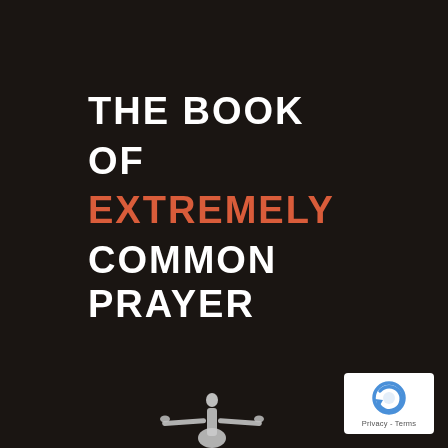THE BOOK OF EXTREMELY COMMON PRAYER
[Figure (illustration): Small illustration of Christ the Redeemer statue with arms outstretched, silhouetted in white/grey at the bottom center of the dark cover]
[Figure (logo): Google reCAPTCHA badge with blue arrow icon and Privacy - Terms text, positioned bottom right]